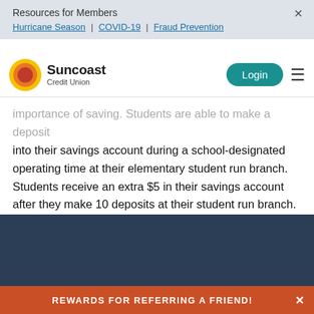Resources for Members
Hurricane Season | COVID-19 | Fraud Prevention
[Figure (logo): Suncoast Credit Union logo with circular yellow/orange/red sun graphic and bold text 'Suncoast Credit Union']
importance of saving. Students are able to make a deposit into their savings account during a school-designated operating time at their elementary student run branch. Students receive an extra $5 in their savings account after they make 10 deposits at their student run branch.
REWARDS FOR REFERRING A FRIEND!